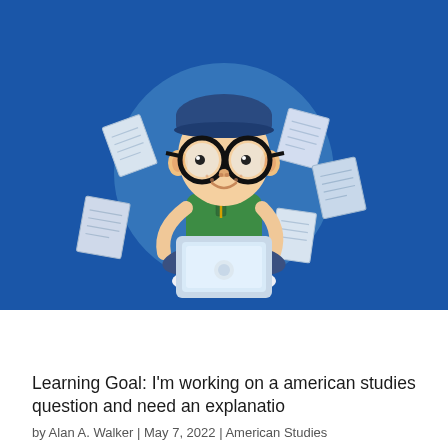[Figure (illustration): Cartoon illustration of a boy with large round glasses and a blue cap, wearing a green t-shirt, sitting cross-legged with a laptop on his lap. Papers are flying around him. The background is a blue circle on a blue rectangle background.]
Learning Goal: I'm working on a american studies question and need an explanatio
by Alan A. Walker | May 7, 2022 | American Studies